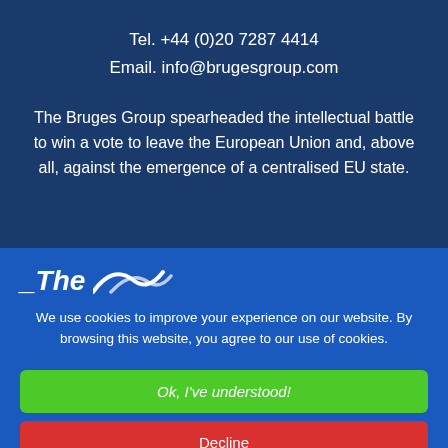Tel. +44 (0)20 7287 4414
Email. info@brugesgroup.com
The Bruges Group spearheaded the intellectual battle to win a vote to leave the European Union and, above all, against the emergence of a centralised EU state.
[Figure (logo): The Bruges Group logo: italic bold text '_The' followed by a stylised wave arc icon in white]
We use cookies to improve your experience on our website. By browsing this website, you agree to our use of cookies.
Ok, I've understood!
Decline